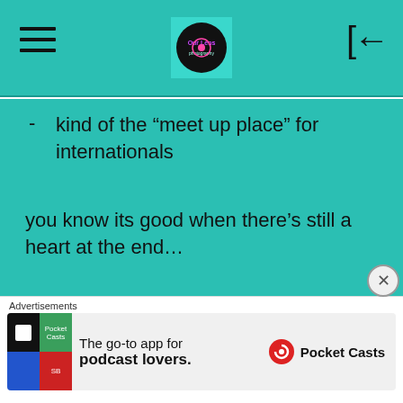Navigation header with hamburger menu, logo, and back button
kind of the “meet up place” for internationals
you know its good when there’s still a heart at the end…
[Figure (photo): Two side-by-side photos: left shows a chocolate chip cookie on a dark plate with a latte on a wooden table; right shows a cafe interior with chairs and a cookie on a plate]
Advertisements
[Figure (other): Advertisement for Pocket Casts app: The go-to app for podcast lovers.]